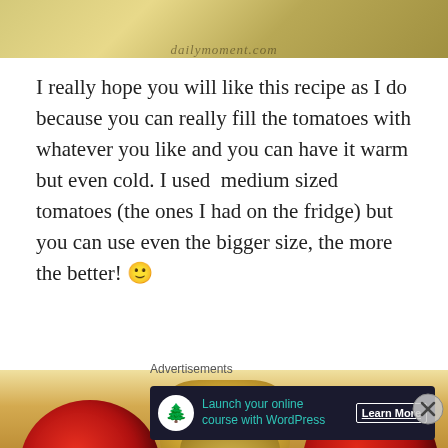[Figure (photo): Close-up photo of a bowl with roasted potatoes and vegetables, with watermark text 'dailymoment.com']
I really hope you will like this recipe as I do because you can really fill the tomatoes with whatever you like and you can have it warm but even cold. I used  medium sized tomatoes (the ones I had on the fridge) but you can use even the bigger size, the more the better! 🙂
[Figure (photo): Close-up photo of stuffed roasted tomatoes with potatoes on a white plate]
Advertisements
[Figure (screenshot): Advertisement banner: Launch your online course with WordPress - Learn More button]